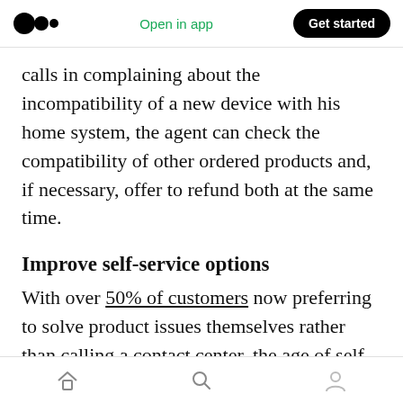Open in app | Get started
calls in complaining about the incompatibility of a new device with his home system, the agent can check the compatibility of other ordered products and, if necessary, offer to refund both at the same time.
Improve self-service options
With over 50% of customers now preferring to solve product issues themselves rather than calling a contact center, the age of self-service has finally arrived. These channels can be programmed to lead the customer through a
Home | Search | Profile